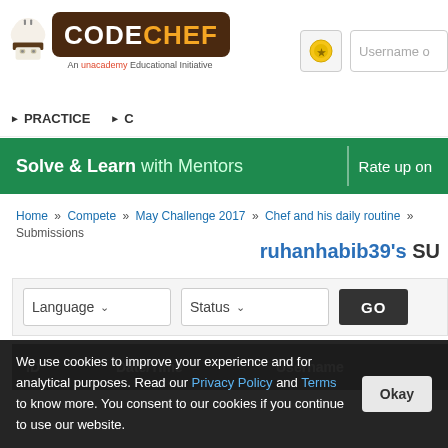[Figure (logo): CodeChef logo with chef hat icon and 'An unacademy Educational Initiative' subtitle]
PRACTICE  C
[Figure (infographic): Green banner: Solve & Learn with Mentors | Rate up on]
Home » Compete » May Challenge 2017 » Chef and his daily routine » Submissions
ruhanhabib39's SU
[Figure (screenshot): Filter controls: Language dropdown, Status dropdown, GO button]
| ID | Date/Time | Username |
| --- | --- | --- |
We use cookies to improve your experience and for analytical purposes. Read our Privacy Policy and Terms to know more. You consent to our cookies if you continue to use our website.